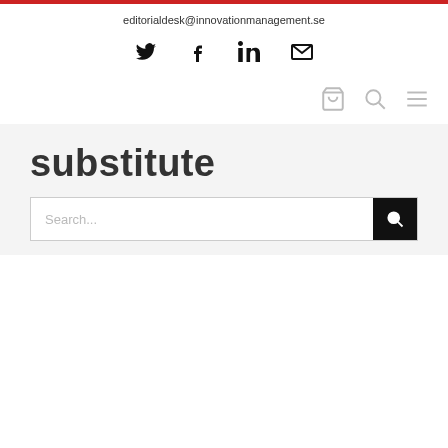editorialdesk@innovationmanagement.se
[Figure (other): Social media icons: Twitter, Facebook, LinkedIn, Email]
[Figure (other): Navigation icons: cart, search, menu hamburger]
substitute
Search...